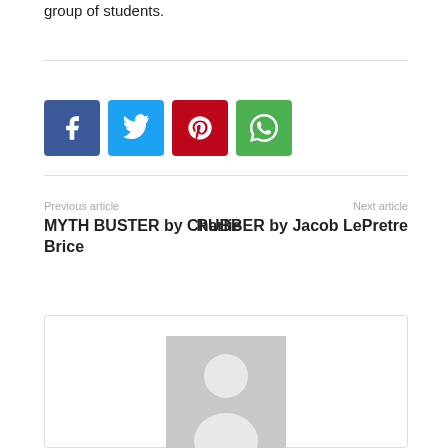group of students.
[Figure (infographic): Four social media share buttons: Facebook (blue), Twitter (light blue), Pinterest (red), WhatsApp (green)]
Previous article
MYTH BUSTER by Charlie Brice
Next article
RUBBER by Jacob LePretre
[Figure (illustration): Author avatar placeholder — grey rectangle with white silhouette of a person]